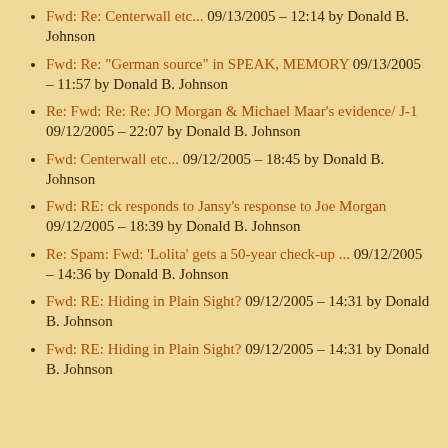Fwd: Re: Centerwall etc... 09/13/2005 – 12:14 by Donald B. Johnson
Fwd: Re: "German source" in SPEAK, MEMORY 09/13/2005 – 11:57 by Donald B. Johnson
Re: Fwd: Re: Re: JO Morgan & Michael Maar's evidence/ J-1 09/12/2005 – 22:07 by Donald B. Johnson
Fwd: Centerwall etc... 09/12/2005 – 18:45 by Donald B. Johnson
Fwd: RE: ck responds to Jansy's response to Joe Morgan 09/12/2005 – 18:39 by Donald B. Johnson
Re: Spam: Fwd: 'Lolita' gets a 50-year check-up ... 09/12/2005 – 14:36 by Donald B. Johnson
Fwd: RE: Hiding in Plain Sight? 09/12/2005 – 14:31 by Donald B. Johnson
Fwd: RE: Hiding in Plain Sight? 09/12/2005 – 14:31 by Donald B. Johnson